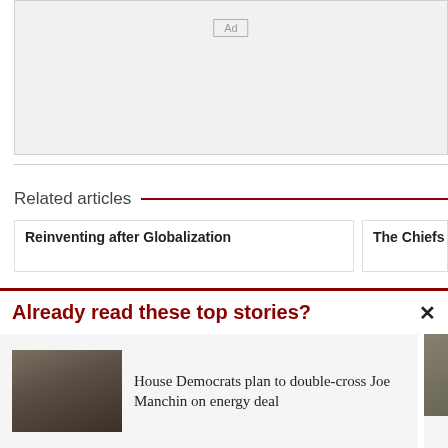[Figure (other): Ad placeholder block with 'Ad' label in top center]
Related articles
Reinventing after Globalization
The Chiefs Fo
Already read these top stories?
House Democrats plan to double-cross Joe Manchin on energy deal